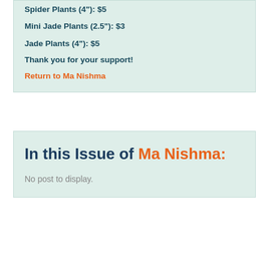Spider Plants (4"): $5
Mini Jade Plants (2.5"): $3
Jade Plants (4"): $5
Thank you for your support!
Return to Ma Nishma
In this Issue of Ma Nishma:
No post to display.